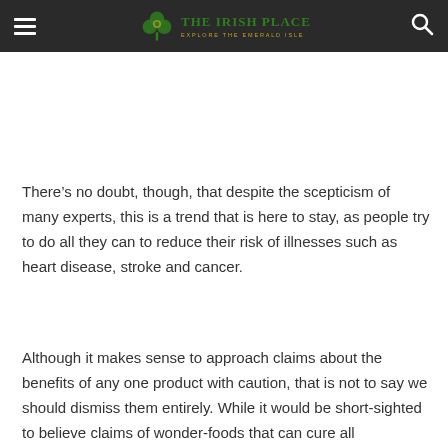The Irish Place — Explore The Emerald Isle
There’s no doubt, though, that despite the scepticism of many experts, this is a trend that is here to stay, as people try to do all they can to reduce their risk of illnesses such as heart disease, stroke and cancer.
Although it makes sense to approach claims about the benefits of any one product with caution, that is not to say we should dismiss them entirely. While it would be short-sighted to believe claims of wonder-foods that can cure all